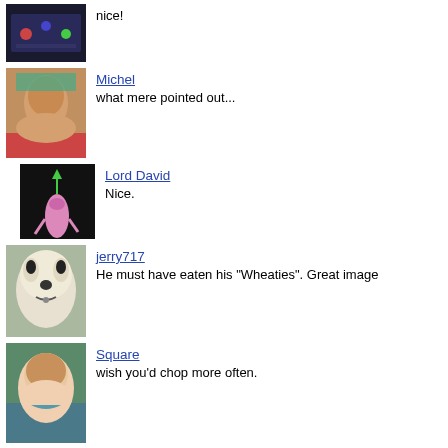[Figure (photo): Thumbnail avatar image - bowling/gaming scene with purple/dark tones]
nice!
[Figure (photo): Thumbnail avatar image - man sleeping or resting with colorful background]
Michel
what mere pointed out...
[Figure (photo): Thumbnail avatar image - The Sims style character with green plumbob and pink hand on dark background]
Lord David
Nice.
[Figure (photo): Thumbnail avatar image - sheep/wolf hybrid creature outdoors]
jerry717
He must have eaten his "Wheaties". Great image
[Figure (photo): Thumbnail avatar image - woman with brown hair smiling]
Square
wish you'd chop more often.
[Figure (photo): Thumbnail avatar image - purple/pink swirling light art]
missrobin74
LOVE it